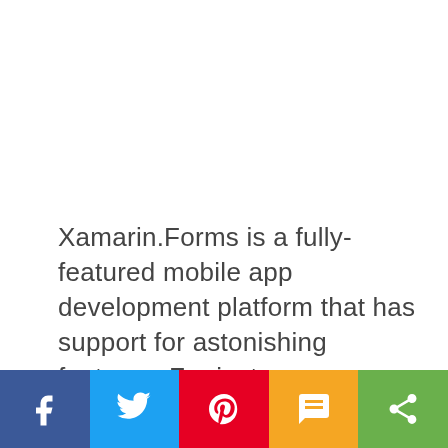Xamarin.Forms is a fully-featured mobile app development platform that has support for astonishing features. For instance, you could possibly create an animation by using a trigger, applying a material design rule, implementing unique effects, etc. Here, in this blog, we will learn about a NuGet package called Magic Gradient which helps in adding unique effects to the application
[Figure (infographic): Social sharing bar at the bottom with five buttons: Facebook (blue), Twitter (light blue), Pinterest (red), SMS (orange/yellow), Share (green)]